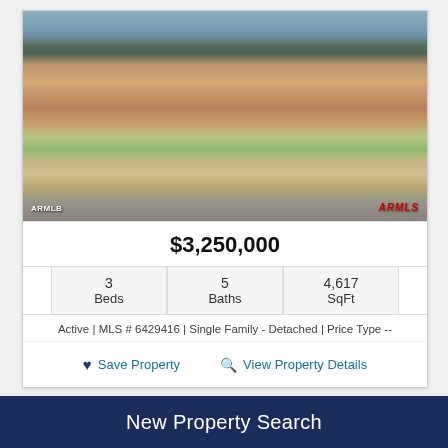[Figure (photo): Exterior photo of a large Southwestern/Spanish-style luxury home with terracotta tile roof, stucco walls, arched entryway, and desert landscaping including cacti, succulents, and desert shrubs. Mountainous background visible.]
$3,250,000
|  | Beds | Baths | SqFt |  |
| --- | --- | --- | --- | --- |
|  | 3 | 5 | 4,617 |  |
Active | MLS # 6429416 | Single Family - Detached | Price Type --
Save Property   View Property Details
New Property Search